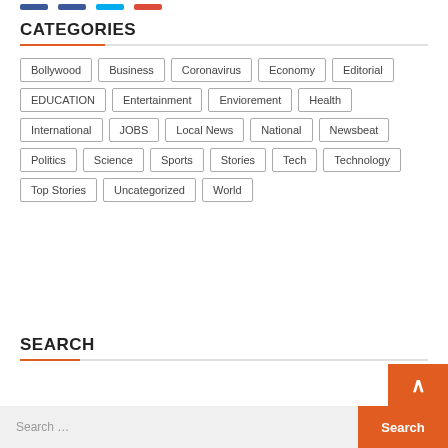[social icon bar]
CATEGORIES
Bollywood
Business
Coronavirus
Economy
Editorial
EDUCATION
Entertainment
Enviorement
Health
International
JOBS
Local News
National
Newsbeat
Politics
Science
Sports
Stories
Tech
Technology
Top Stories
Uncategorized
World
SEARCH